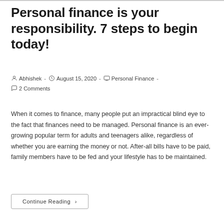Personal finance is your responsibility. 7 steps to begin today!
Abhishek  -  August 15, 2020  -  Personal Finance  -  2 Comments
When it comes to finance, many people put an impractical blind eye to the fact that finances need to be managed. Personal finance is an ever-growing popular term for adults and teenagers alike, regardless of whether you are earning the money or not. After-all bills have to be paid, family members have to be fed and your lifestyle has to be maintained.
Continue Reading ›